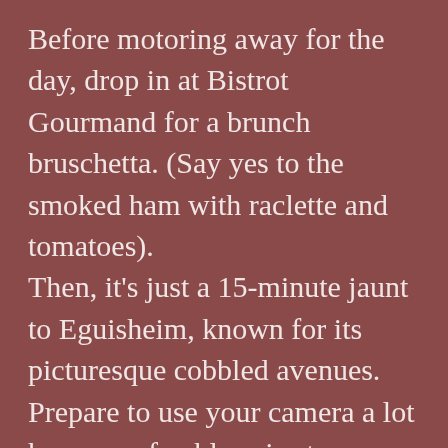Before motoring away for the day, drop in at Bistrot Gourmand for a brunch bruschetta. (Say yes to the smoked ham with raclette and tomatoes). Then, it's just a 15-minute jaunt to Eguisheim, known for its picturesque cobbled avenues. Prepare to use your camera a lot here—preferably prior to a tasting at Maison Wolfberger if you want a steady shot. (Wolfberger is known for its hearty pours.) From there, proceed to lunch at La Galinette for crepes. Order something with sautéed mushrooms, served in a luscious pile atop your lunch. Well, for those who want to really savor the taste...